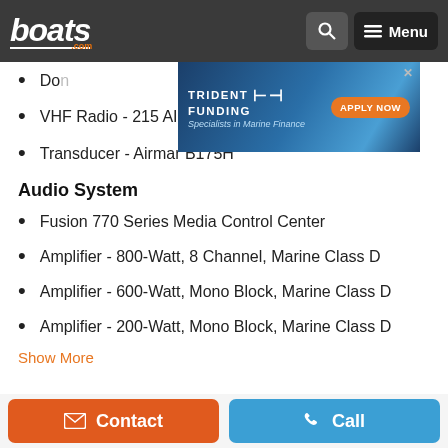boats.com — Menu
[Figure (other): Trident Funding marine finance advertisement banner with Apply Now button]
Don[partially hidden]
VHF Radio - 215 AIS with Antenna
Transducer - Airmar B175H
Audio System
Fusion 770 Series Media Control Center
Amplifier - 800-Watt, 8 Channel, Marine Class D
Amplifier - 600-Watt, Mono Block, Marine Class D
Amplifier - 200-Watt, Mono Block, Marine Class D
Show More
Contact | Call